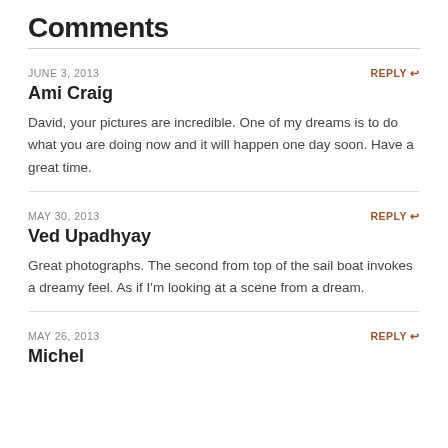Comments
JUNE 3, 2013
REPLY
Ami Craig
David, your pictures are incredible. One of my dreams is to do what you are doing now and it will happen one day soon. Have a great time.
MAY 30, 2013
REPLY
Ved Upadhyay
Great photographs. The second from top of the sail boat invokes a dreamy feel. As if I'm looking at a scene from a dream.
MAY 26, 2013
REPLY
Michel